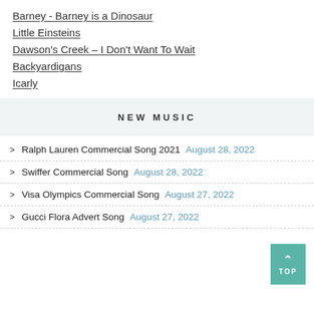Barney - Barney is a Dinosaur
Little Einsteins
Dawson's Creek – I Don't Want To Wait
Backyardigans
Icarly
NEW MUSIC
Ralph Lauren Commercial Song 2021 August 28, 2022
Swiffer Commercial Song August 28, 2022
Visa Olympics Commercial Song August 27, 2022
Gucci Flora Advert Song August 27, 2022